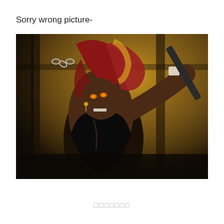Sorry wrong picture-
[Figure (illustration): Anime-style illustration of a muscular dark-skinned character with long red hair, wearing a black top, holding a large weapon/club, with glowing eyes and a chain in the background. The scene has a warm golden-brown atmospheric lighting.]
□□□□□□□